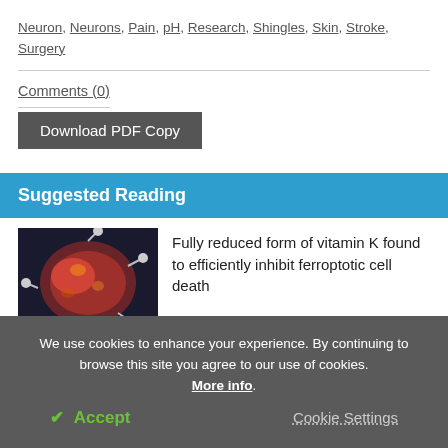Neuron, Neurons, Pain, pH, Research, Shingles, Skin, Stroke, Surgery
Comments (0)
Download PDF Copy
Suggested Reading
[Figure (photo): Scientific illustration of a cell with molecular structures, red/orange colors on dark background]
Fully reduced form of vitamin K found to efficiently inhibit ferroptotic cell death
We use cookies to enhance your experience. By continuing to browse this site you agree to our use of cookies. More info.
✓ Accept
Cookie Settings